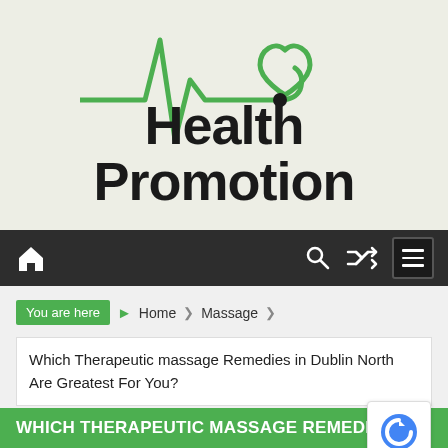[Figure (logo): Health Promotion logo with green ECG/heartbeat line and stethoscope forming a heart shape, on cream/beige background. Text reads 'Health Promotion' in bold black.]
Navigation bar with home icon, search icon, shuffle icon, and menu icon
You are here › Home › Massage
Which Therapeutic massage Remedies in Dublin North Are Greatest For You?
WHICH THERAPEUTIC MASSAGE REMEDIES